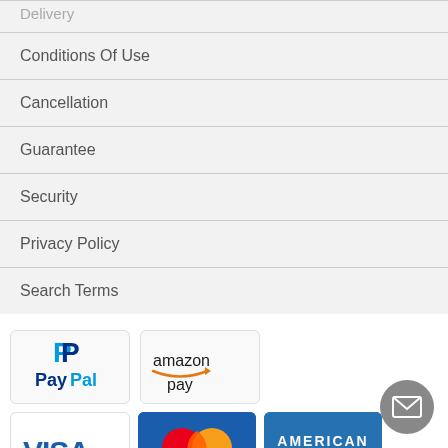Delivery
Conditions Of Use
Cancellation
Guarantee
Security
Privacy Policy
Search Terms
[Figure (logo): PayPal payment logo]
[Figure (logo): Amazon Pay payment logo]
[Figure (logo): Visa payment logo]
[Figure (logo): MasterCard payment logo]
[Figure (logo): American Express payment logo]